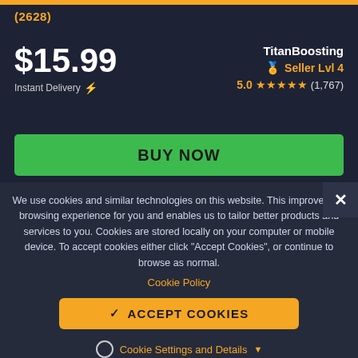(2628)
$15.99
Instant Delivery ⚡
TitanBoosting
🏅 Seller Lvl 4
5.0 ★★★★★ (1,767)
BUY NOW
We use cookies and similar technologies on this website. This improves the browsing experience for you and enables us to tailor better products and services to you. Cookies are stored locally on your computer or mobile device. To accept cookies either click "Accept Cookies", or continue to browse as normal.
Cookie Policy
✓ ACCEPT COOKIES
Cookie Settings and Details ▼